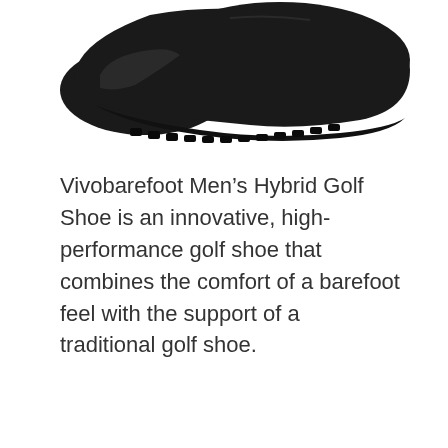[Figure (photo): A black Vivobarefoot Men's Hybrid Golf Shoe viewed from the side/bottom, showing the sole with rugged tread pattern. The shoe is dark black and partially cropped at the top of the image.]
Vivobarefoot Men's Hybrid Golf Shoe is an innovative, high-performance golf shoe that combines the comfort of a barefoot feel with the support of a traditional golf shoe.